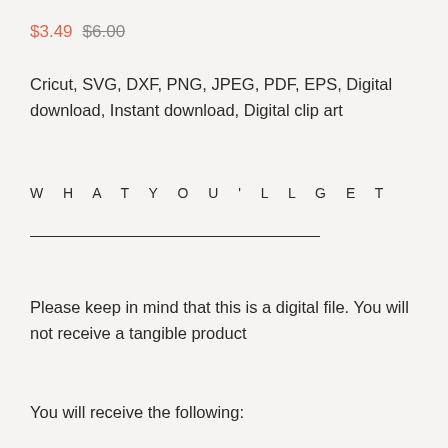$3.49  $6.00
Cricut, SVG, DXF, PNG, JPEG, PDF, EPS, Digital download, Instant download, Digital clip art
W H A T Y O U ' L L G E T
Please keep in mind that this is a digital file. You will not receive a tangible product
You will receive the following: